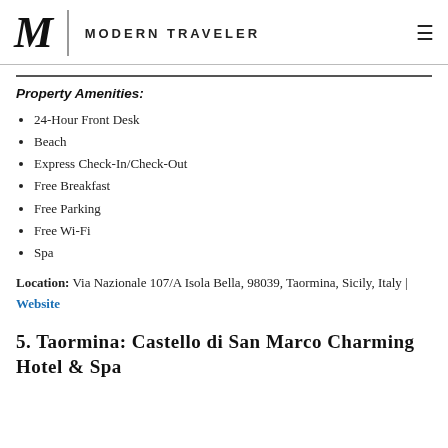MODERN TRAVELER
Property Amenities:
24-Hour Front Desk
Beach
Express Check-In/Check-Out
Free Breakfast
Free Parking
Free Wi-Fi
Spa
Location: Via Nazionale 107/A Isola Bella, 98039, Taormina, Sicily, Italy | Website
5. Taormina: Castello di San Marco Charming Hotel & Spa